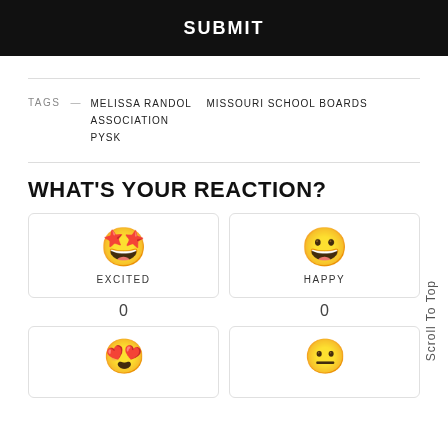SUBMIT
TAGS — MELISSA RANDOL   MISSOURI SCHOOL BOARDS ASSOCIATION  PYSK
WHAT'S YOUR REACTION?
[Figure (other): Reaction card: star-eyes emoji labeled EXCITED with count 0]
[Figure (other): Reaction card: smiley face emoji labeled HAPPY with count 0]
[Figure (other): Reaction card: heart-eyes emoji (partially visible at bottom)]
[Figure (other): Reaction card: another emoji (partially visible at bottom)]
Scroll To Top